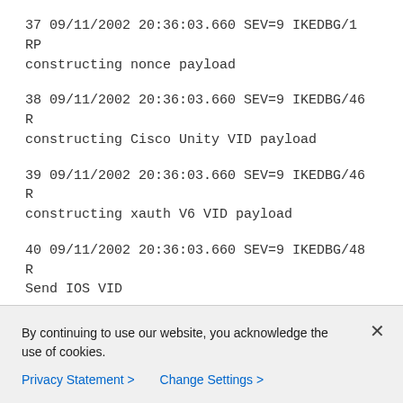37 09/11/2002 20:36:03.660 SEV=9 IKEDBG/1 RP
constructing nonce payload
38 09/11/2002 20:36:03.660 SEV=9 IKEDBG/46 R
constructing Cisco Unity VID payload
39 09/11/2002 20:36:03.660 SEV=9 IKEDBG/46 R
constructing xauth V6 VID payload
40 09/11/2002 20:36:03.660 SEV=9 IKEDBG/48 R
Send IOS VID
41 09/11/2002 20:36:03.660 SEV=9 IKEDBG/38 R
Constructing VPN 3000 spoofing IOS Vendor ID
capabilities: 20000001)
By continuing to use our website, you acknowledge the use of cookies.
Privacy Statement > Change Settings >